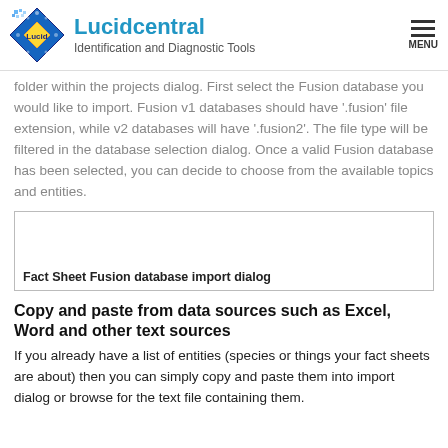Lucidcentral — Identification and Diagnostic Tools
folder within the projects dialog. First select the Fusion database you would like to import. Fusion v1 databases should have '.fusion' file extension, while v2 databases will have '.fusion2'. The file type will be filtered in the database selection dialog. Once a valid Fusion database has been selected, you can decide to choose from the available topics and entities.
[Figure (screenshot): Fact Sheet Fusion database import dialog box — empty dialog with caption label inside]
Fact Sheet Fusion database import dialog
Copy and paste from data sources such as Excel, Word and other text sources
If you already have a list of entities (species or things your fact sheets are about) then you can simply copy and paste them into import dialog or browse for the text file containing them.